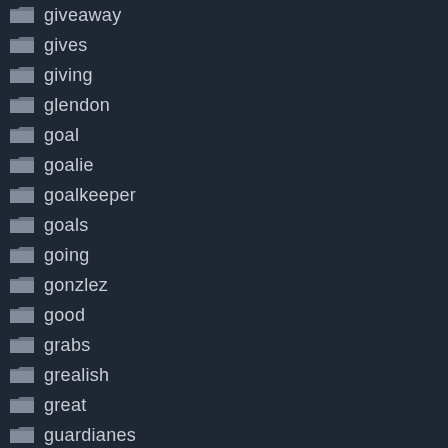giveaway
gives
giving
glendon
goal
goalie
goalkeeper
goals
going
gonzlez
good
grabs
grealish
great
guardianes
guatemala
guillermo
guiseppe